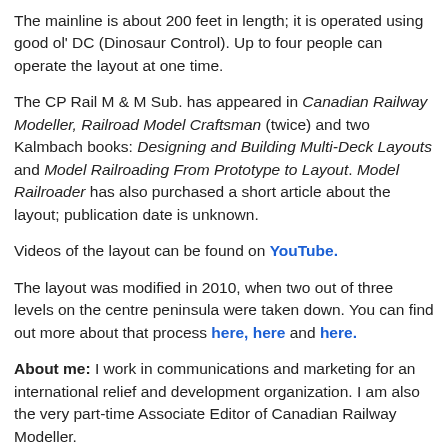The mainline is about 200 feet in length; it is operated using good ol' DC (Dinosaur Control). Up to four people can operate the layout at one time.
The CP Rail M & M Sub. has appeared in Canadian Railway Modeller, Railroad Model Craftsman (twice) and two Kalmbach books: Designing and Building Multi-Deck Layouts and Model Railroading From Prototype to Layout. Model Railroader has also purchased a short article about the layout; publication date is unknown.
Videos of the layout can be found on YouTube.
The layout was modified in 2010, when two out of three levels on the centre peninsula were taken down. You can find out more about that process here, here and here.
About me: I work in communications and marketing for an international relief and development organization. I am also the very part-time Associate Editor of Canadian Railway Modeller.